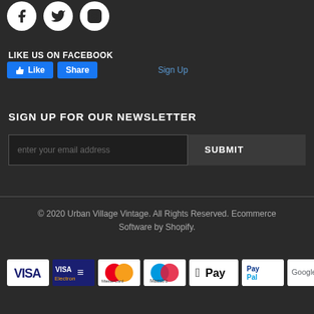[Figure (illustration): Social media icons: Facebook, Twitter, Instagram in white circles on dark background]
LIKE US ON FACEBOOK
[Figure (screenshot): Facebook Like and Share buttons in blue, and a Sign Up link]
SIGN UP FOR OUR NEWSLETTER
[Figure (screenshot): Email input field with placeholder 'enter your email address' and a SUBMIT button]
© 2020 Urban Village Vintage. All Rights Reserved. Ecommerce Software by Shopify.
[Figure (illustration): Payment method icons: Visa, Visa Electron, MasterCard, Maestro, Apple Pay, PayPal, Google Pay]